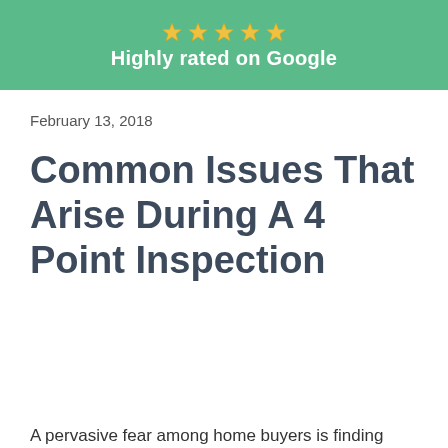[Figure (infographic): Green banner with five gold stars and text 'Highly rated on Google']
February 13, 2018
Common Issues That Arise During A 4 Point Inspection
A pervasive fear among home buyers is finding